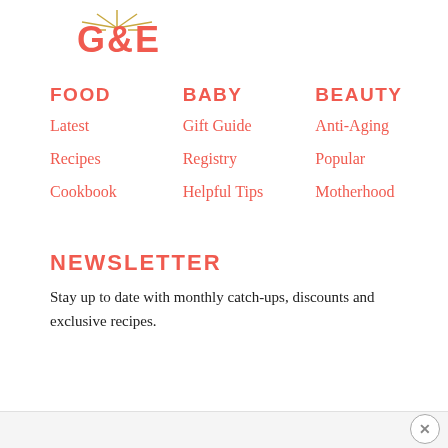[Figure (logo): G&E logo with decorative sunburst rays above the letters, in coral/red color]
FOOD
Latest
Recipes
Cookbook
BABY
Gift Guide
Registry
Helpful Tips
BEAUTY
Anti-Aging
Popular
Motherhood
NEWSLETTER
Stay up to date with monthly catch-ups, discounts and exclusive recipes.